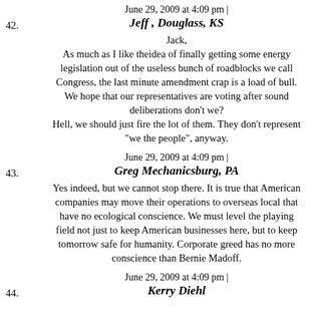42. June 29, 2009 at 4:09 pm | Jeff, Douglass, KS
Jack,
As much as I like theidea of finally getting some energy legislation out of the useless bunch of roadblocks we call Congress, the last minute amendment crap is a load of bull. We hope that our representatives are voting after sound deliberations don't we?
Hell, we should just fire the lot of them. They don't represent "we the people", anyway.
43. June 29, 2009 at 4:09 pm | Greg Mechanicsburg, PA
Yes indeed, but we cannot stop there. It is true that American companies may move their operations to overseas local that have no ecological conscience. We must level the playing field not just to keep American businesses here, but to keep tomorrow safe for humanity. Corporate greed has no more conscience than Bernie Madoff.
44. June 29, 2009 at 4:09 pm | Kerry Diehl